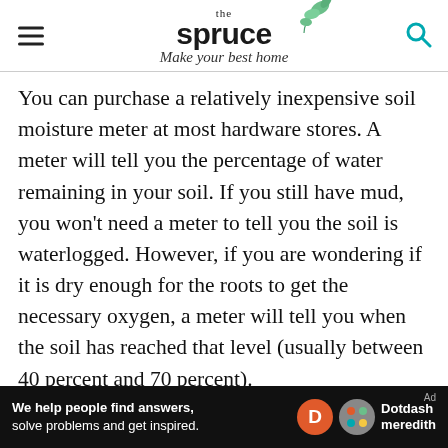the spruce — Make your best home
You can purchase a relatively inexpensive soil moisture meter at most hardware stores. A meter will tell you the percentage of water remaining in your soil. If you still have mud, you won't need a meter to tell you the soil is waterlogged. However, if you are wondering if it is dry enough for the roots to get the necessary oxygen, a meter will tell you when the soil has reached that level (usually between 40 percent and 70 percent).
Container Plants
[Figure (other): Dotdash Meredith advertisement banner: 'We help people find answers, solve problems and get inspired.' with Dotdash Meredith logo]